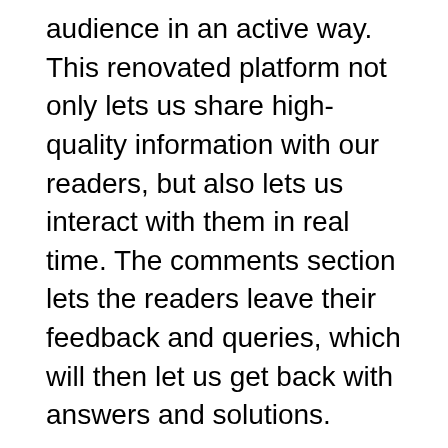audience in an active way. This renovated platform not only lets us share high-quality information with our readers, but also lets us interact with them in real time. The comments section lets the readers leave their feedback and queries, which will then let us get back with answers and solutions.
We understand that the world of flooring is not that easy as it seems. With new materials, technologies and patterns being introduced frequently, it is understandable that people get confused and is unable to find enough information to make an informed decision. It is this glaring gap that we intend to fill by providing a platform for readers across the country to raise their queries and search for relevant information.